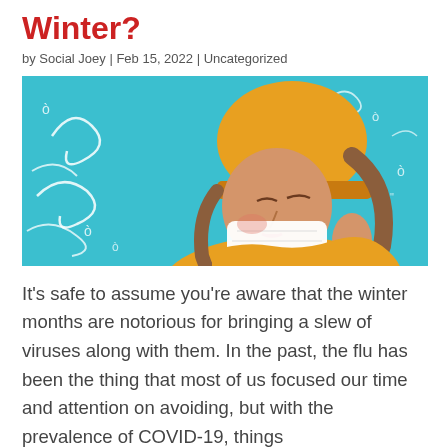Winter?
by Social Joey | Feb 15, 2022 | Uncategorized
[Figure (photo): A woman wearing a yellow knit hat and yellow sweater blowing her nose into a tissue, against a teal/blue background with white swirl and rain drop doodle illustrations]
It’s safe to assume you’re aware that the winter months are notorious for bringing a slew of viruses along with them. In the past, the flu has been the thing that most of us focused our time and attention on avoiding, but with the prevalence of COVID-19, things